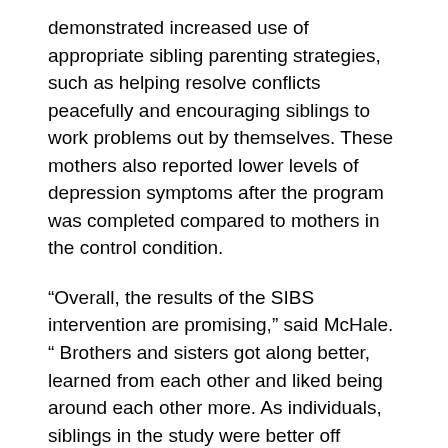demonstrated increased use of appropriate sibling parenting strategies, such as helping resolve conflicts peacefully and encouraging siblings to work problems out by themselves. These mothers also reported lower levels of depression symptoms after the program was completed compared to mothers in the control condition.
“Overall, the results of the SIBS intervention are promising,” said McHale. “ Brothers and sisters got along better, learned from each other and liked being around each other more. As individuals, siblings in the study were better off emotionally and academically. Mothers also accrued benefits, with many reporting being happier about their personal and family life.”
The National Institute on Drug Abuse, as a part of the National Institutes of Health’s American Recovery and Reinvestment Act, funded SIBS, which is a part of the